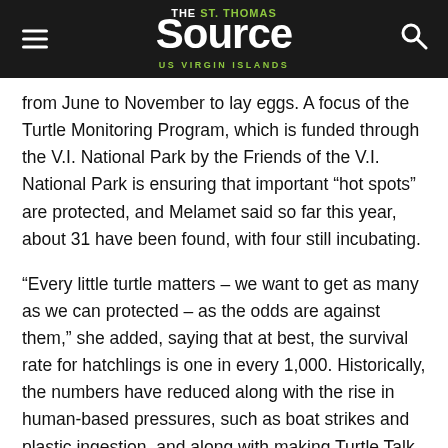THE St. Thomas Source US VIRGIN ISLANDS
from June to November to lay eggs. A focus of the Turtle Monitoring Program, which is funded through the V.I. National Park by the Friends of the V.I. National Park is ensuring that important “hot spots” are protected, and Melamet said so far this year, about 31 have been found, with four still incubating.
“Every little turtle matters – we want to get as many as we can protected – as the odds are against them,” she added, saying that at best, the survival rate for hatchlings is one in every 1,000. Historically, the numbers have reduced along with the rise in human-based pressures, such as boat strikes and plastic ingestion, and along with making Turtle Talk participants aware of facts and figures, the program is also determined to educate boaters and captains about how to